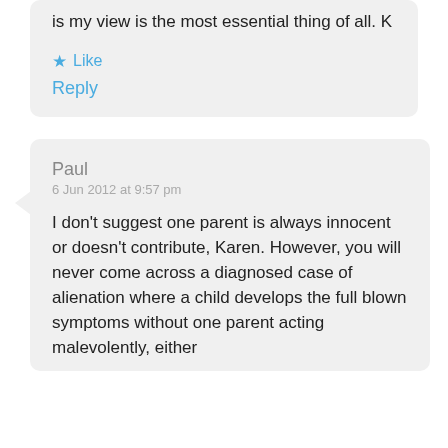is my view is the most essential thing of all. K
★ Like
Reply
Paul
6 Jun 2012 at 9:57 pm
I don't suggest one parent is always innocent or doesn't contribute, Karen. However, you will never come across a diagnosed case of alienation where a child develops the full blown symptoms without one parent acting malevolently, either